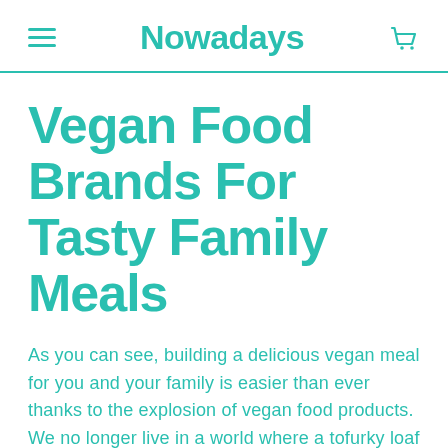Nowadays
Vegan Food Brands For Tasty Family Meals
As you can see, building a delicious vegan meal for you and your family is easier than ever thanks to the explosion of vegan food products. We no longer live in a world where a tofurky loaf is the only meat alternative – and we've come a long